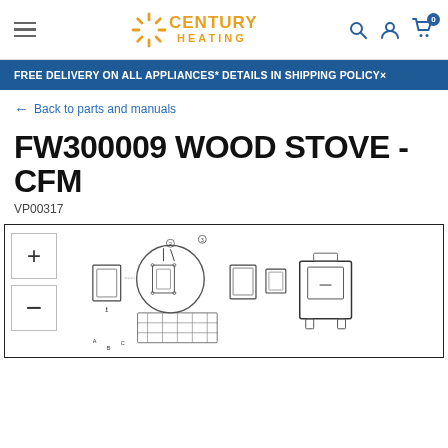Century Heating — navigation header with hamburger menu, logo, search, account, and cart icons
FREE DELIVERY ON ALL APPLIANCES* DETAILS IN SHIPPING POLICY
← Back to parts and manuals
FW300009 WOOD STOVE - CFM
VP00317
[Figure (engineering-diagram): Exploded parts diagram of the FW300009 wood stove showing various components including door panels, circular magnified detail, and the main stove body with numbered parts callouts. Zoom in (+) and zoom out (-) buttons are shown on the left.]